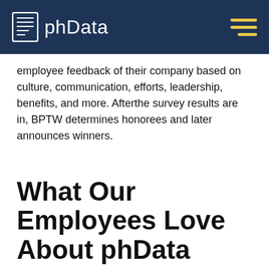phData
employee feedback of their company based on culture, communication, efforts, leadership, benefits, and more. Afterthe survey results are in, BPTW determines honorees and later announces winners.
What Our Employees Love About phData